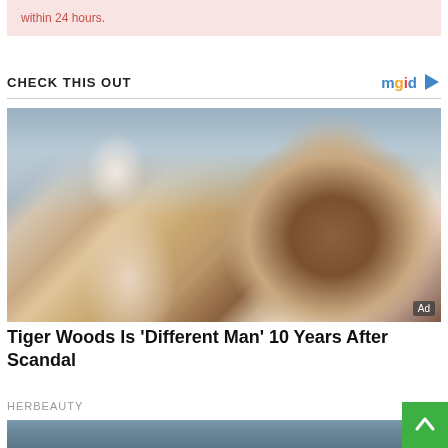within 24 hours.
CHECK THIS OUT
[Figure (photo): Photo of a blonde woman and a man wearing a dark baseball cap, close-up portrait, with 'Ad' badge in bottom right corner]
Tiger Woods Is 'Different Man' 10 Years After Scandal
HERBEAUTY
[Figure (photo): Partial view of a second article image showing a person outdoors with sky and hills in background]